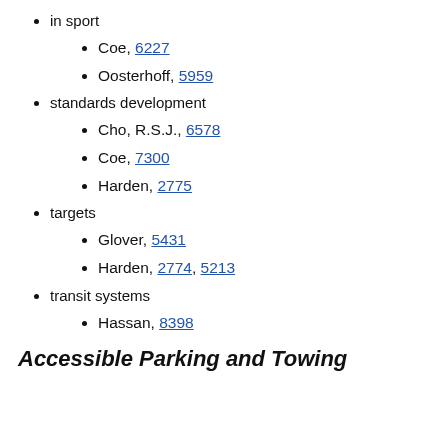in sport
Coe, 6227
Oosterhoff, 5959
standards development
Cho, R.S.J., 6578
Coe, 7300
Harden, 2775
targets
Glover, 5431
Harden, 2774, 5213
transit systems
Hassan, 8398
Accessible Parking and Towing